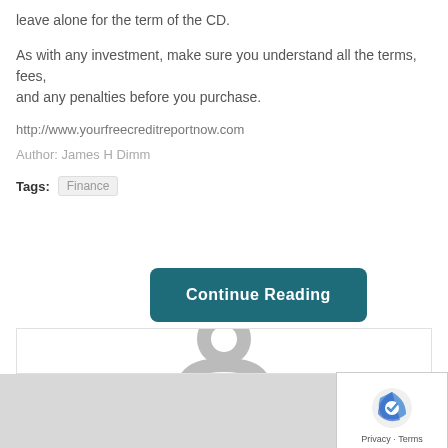leave alone for the term of the CD.
As with any investment, make sure you understand all the terms, fees, and any penalties before you purchase.
http://www.yourfreecreditreportnow.com
Author: James H Dimm
Tags: Finance
[Figure (other): Continue Reading button overlay in dark teal color]
[Figure (other): User avatar placeholder icon in a white bordered box]
[Figure (other): reCAPTCHA badge with Privacy and Terms links at bottom right]